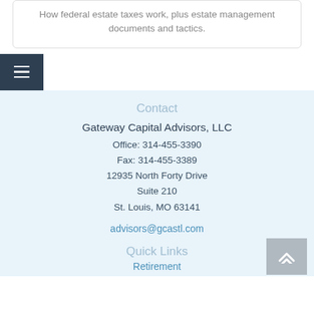How federal estate taxes work, plus estate management documents and tactics.
Contact
Gateway Capital Advisors, LLC
Office: 314-455-3390
Fax: 314-455-3389
12935 North Forty Drive
Suite 210
St. Louis, MO 63141
advisors@gcastl.com
Quick Links
Retirement